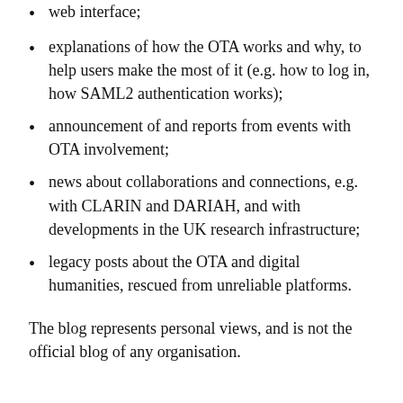web interface;
explanations of how the OTA works and why, to help users make the most of it (e.g. how to log in, how SAML2 authentication works);
announcement of and reports from events with OTA involvement;
news about collaborations and connections, e.g. with CLARIN and DARIAH, and with developments in the UK research infrastructure;
legacy posts about the OTA and digital humanities, rescued from unreliable platforms.
The blog represents personal views, and is not the official blog of any organisation.